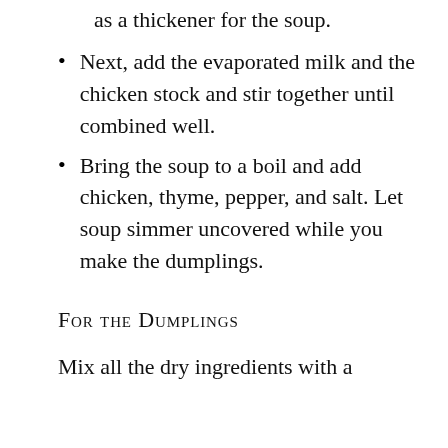as a thickener for the soup.
Next, add the evaporated milk and the chicken stock and stir together until combined well.
Bring the soup to a boil and add chicken, thyme, pepper, and salt. Let soup simmer uncovered while you make the dumplings.
For the Dumplings
Mix all the dry ingredients with a